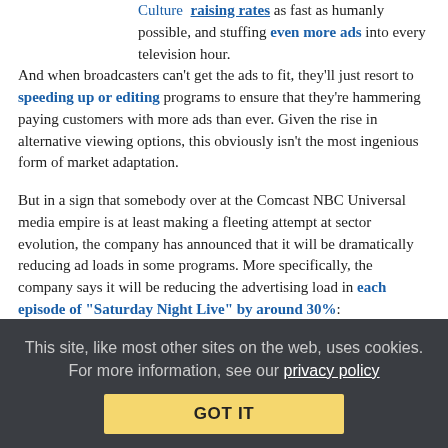Culture raising rates as fast as humanly possible, and stuffing even more ads into every television hour. And when broadcasters can't get the ads to fit, they'll just resort to speeding up or editing programs to ensure that they're hammering paying customers with more ads than ever. Given the rise in alternative viewing options, this obviously isn't the most ingenious form of market adaptation.
But in a sign that somebody over at the Comcast NBC Universal media empire is at least making a fleeting attempt at sector evolution, the company has announced that it will be dramatically reducing ad loads in some programs. More specifically, the company says it will be reducing the advertising load in each episode of "Saturday Night Live" by around 30%:
“NBC’s “Saturday Night Live” is paring down its commercial load, with plans to cut about 30% of ads out of the sketch comedy show next season. It will do
This site, like most other sites on the web, uses cookies. For more information, see our privacy policy
GOT IT